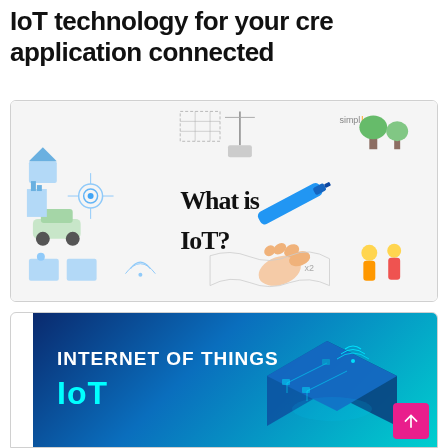IoT technology for your cre application connected
[Figure (illustration): Whiteboard-style explainer image showing IoT concepts with icons of smart devices (house, car, factory, etc.) and a hand writing 'What is IoT?' with a blue marker. simplilearn logo in top right.]
[Figure (illustration): Blue gradient banner reading 'INTERNET OF THINGS' and 'IoT' in cyan, with a 3D isometric smartphone/tablet showing circuit board and WiFi symbols. Pink arrow-up FAB button in bottom right.]